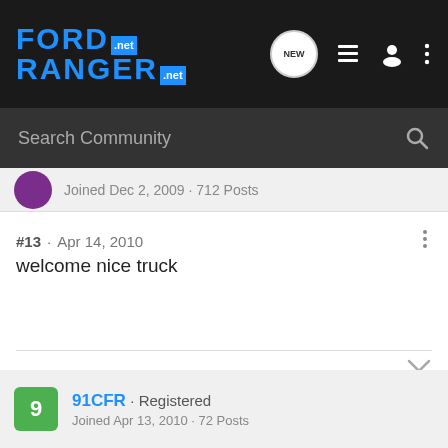[Figure (logo): Ford Ranger Net logo in blue on dark background]
Search Community
Joined Dec 2, 2009 · 712 Posts
#13 · Apr 14, 2010
welcome nice truck
building sweet ass trucks one at at time. or 2 or 3
91CFR · Registered
Joined Apr 13, 2010 · 72 Posts